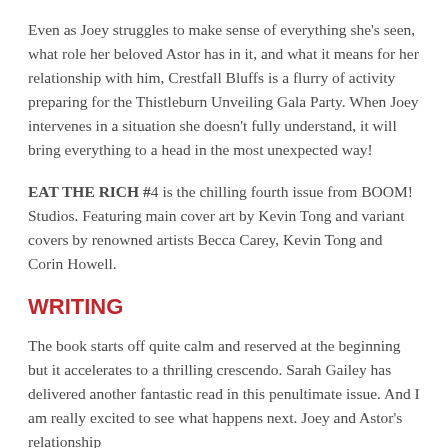Even as Joey struggles to make sense of everything she's seen, what role her beloved Astor has in it, and what it means for her relationship with him, Crestfall Bluffs is a flurry of activity preparing for the Thistleburn Unveiling Gala Party. When Joey intervenes in a situation she doesn't fully understand, it will bring everything to a head in the most unexpected way!
EAT THE RICH #4 is the chilling fourth issue from BOOM! Studios. Featuring main cover art by Kevin Tong and variant covers by renowned artists Becca Carey, Kevin Tong and Corin Howell.
WRITING
The book starts off quite calm and reserved at the beginning but it accelerates to a thrilling crescendo. Sarah Gailey has delivered another fantastic read in this penultimate issue. And I am really excited to see what happens next. Joey and Astor's relationship